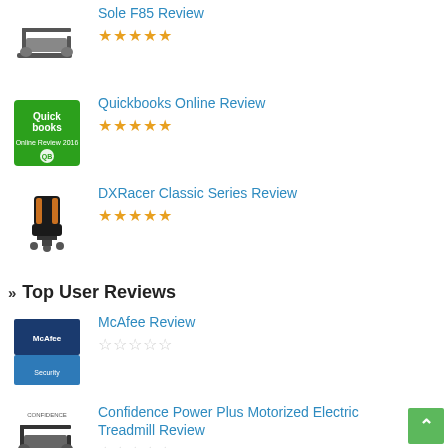Sole F85 Review ★★★★★
Quickbooks Online Review ★★★★★
DXRacer Classic Series Review ★★★★★
» Top User Reviews
McAfee Review ☆☆☆☆☆
Confidence Power Plus Motorized Electric Treadmill Review ☆☆☆☆☆
DXRacer Formula Series Review ☆☆☆☆☆